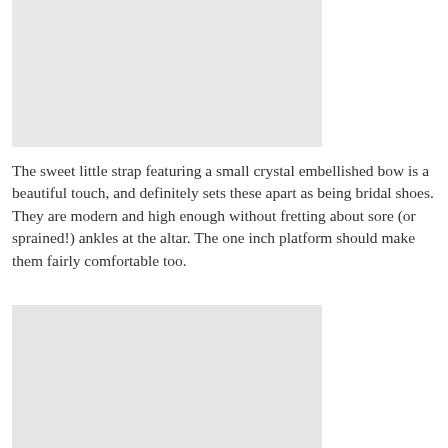[Figure (photo): Photo placeholder of bridal shoes, top image]
The sweet little strap featuring a small crystal embellished bow is a beautiful touch, and definitely sets these apart as being bridal shoes. They are modern and high enough without fretting about sore (or sprained!) ankles at the altar. The one inch platform should make them fairly comfortable too.
[Figure (photo): Photo placeholder of bridal shoes, bottom image]